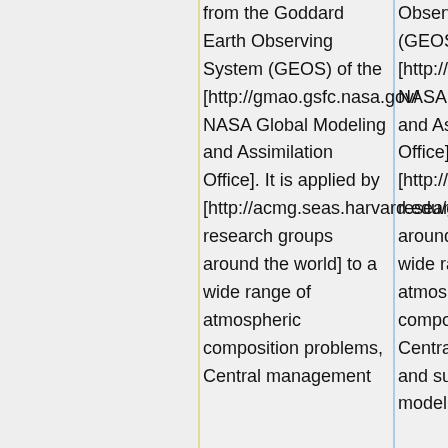from the Goddard Earth Observing System (GEOS) of the [http://gmao.gsfc.nasa.gov/ NASA Global Modeling and Assimilation Office]. It is applied by [http://acmg.seas.harvard.edu/geos/geos_people.html research groups around the world] to a wide range of atmospheric composition problems, Central management
Observing System (GEOS) of the [http://gmao.gsfc.nasa.gov/ NASA Global Modeling and Assimilation Office]. It is applied by [http://acmg.seas.harvard.edu/geos/geos_people.html research groups around the world] to a wide range of atmospheric composition problems. Central management and support of the model is